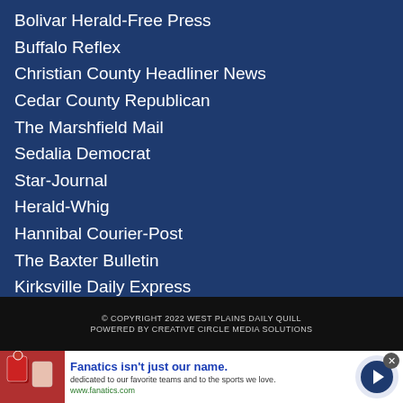Bolivar Herald-Free Press
Buffalo Reflex
Christian County Headliner News
Cedar County Republican
The Marshfield Mail
Sedalia Democrat
Star-Journal
Herald-Whig
Hannibal Courier-Post
The Baxter Bulletin
Kirksville Daily Express
Big Nickel
NEMO Trader
© COPYRIGHT 2022 WEST PLAINS DAILY QUILL
POWERED BY CREATIVE CIRCLE MEDIA SOLUTIONS
[Figure (infographic): Advertisement banner for Fanatics: image of shirts on left, bold blue title 'Fanatics isn't just our name.', body text 'dedicated to our favorite teams and to the sports we love.', green URL 'www.fanatics.com', blue circle arrow button on right]